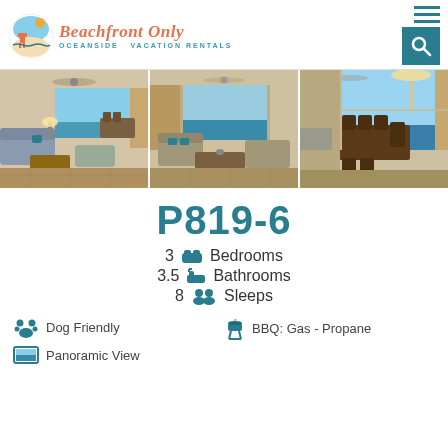Beachfront Only — Oceanside Vacation Rentals
[Figure (photo): Three interior photos of vacation rental P819-6 showing living room and dining areas with ocean views]
P819-6
3 Bedrooms
3.5 Bathrooms
8 Sleeps
Dog Friendly
BBQ: Gas - Propane
Panoramic View